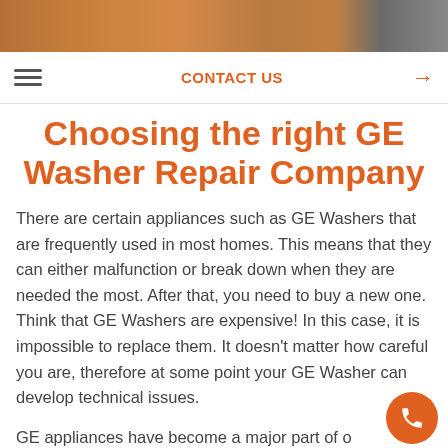[Figure (photo): Top hero banner image showing kitchen appliances in warm brown tones]
CONTACT US →
Choosing the right GE Washer Repair Company
There are certain appliances such as GE Washers that are frequently used in most homes. This means that they can either malfunction or break down when they are needed the most. After that, you need to buy a new one. Think that GE Washers are expensive! In this case, it is impossible to replace them. It doesn't matter how careful you are, therefore at some point your GE Washer can develop technical issues.
GE appliances have become a major part of our day to day lives.
Some day you might be dealing with a GE appliance that has